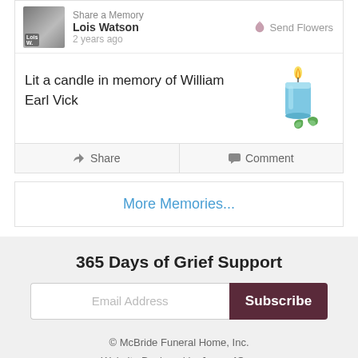Share a Memory
Lois Watson
Send Flowers
2 years ago
Lit a candle in memory of William Earl Vick
[Figure (illustration): Blue candle with flame and green leaf/mint decoration]
Share
Comment
More Memories...
365 Days of Grief Support
Email Address
Subscribe
© McBride Funeral Home, Inc.
Website Designed by funeralOne
CONTACT | TRIBUTES | ABOUT | STORE